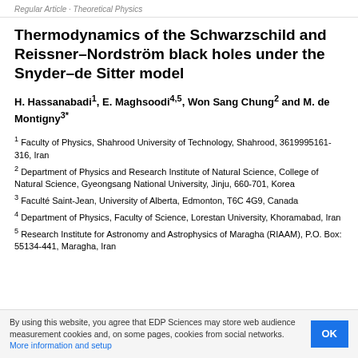Regular Article · Theoretical Physics
Thermodynamics of the Schwarzschild and Reissner–Nordström black holes under the Snyder–de Sitter model
H. Hassanabadi1, E. Maghsoodi4,5, Won Sang Chung2 and M. de Montigny3*
1 Faculty of Physics, Shahrood University of Technology, Shahrood, 3619995161-316, Iran
2 Department of Physics and Research Institute of Natural Science, College of Natural Science, Gyeongsang National University, Jinju, 660-701, Korea
3 Faculté Saint-Jean, University of Alberta, Edmonton, T6C 4G9, Canada
4 Department of Physics, Faculty of Science, Lorestan University, Khoramabad, Iran
5 Research Institute for Astronomy and Astrophysics of Maragha (RIAAM), P.O. Box: 55134-441, Maragha, Iran
By using this website, you agree that EDP Sciences may store web audience measurement cookies and, on some pages, cookies from social networks. More information and setup